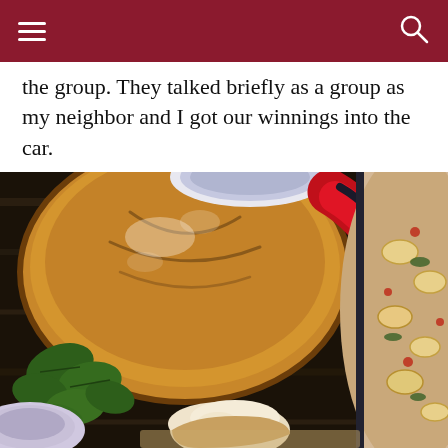[Navigation header with hamburger menu and search icon]
the group. They talked briefly as a group as my neighbor and I got our winnings into the car.
[Figure (photo): Overhead flat-lay food photo showing a rustic sourdough bread loaf dusted with flour, a red Le Creuset dutch oven, fresh spinach leaves, torn bread pieces, and a bowl of creamy tortellini soup with tomatoes and greens on a dark wooden surface.]